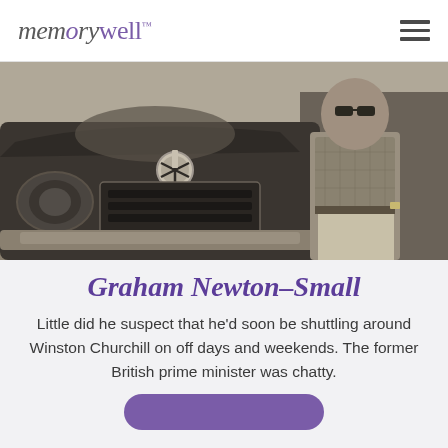memorywell™
[Figure (photo): Black and white photograph of a man wearing sunglasses and a plaid short-sleeved shirt, standing next to a vintage Mercedes-Benz car, viewed from the front showing the grille and hood ornament.]
Graham Newton-Small
Little did he suspect that he'd soon be shuttling around Winston Churchill on off days and weekends. The former British prime minister was chatty.